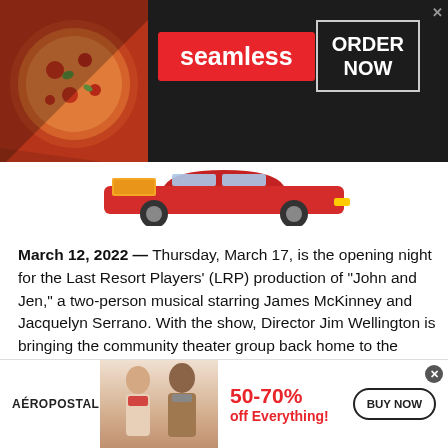[Figure (screenshot): Seamless food delivery advertisement banner with pizza image on left, Seamless logo in red, ORDER NOW box in white border, dark background, and red delivery car at bottom]
March 12, 2022 — Thursday, March 17, is the opening night for the Last Resort Players' (LRP) production of "John and Jen," a two-person musical starring James McKinney and Jacquelyn Serrano. With the show, Director Jim Wellington is bringing the community theater group back home to the Florence Events Center (FEC).
"John and Jen" is opening after Oregon's indoor mask mandate was lifted, meaning that audiences
[Figure (screenshot): Aeropostale advertisement banner with two female models, 50-70% off Everything! in red text, BUY NOW button with border, white background]